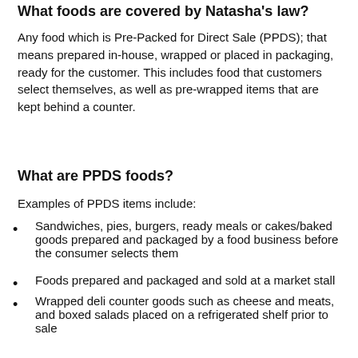What foods are covered by Natasha's law?
Any food which is Pre-Packed for Direct Sale (PPDS); that means prepared in-house, wrapped or placed in packaging, ready for the customer. This includes food that customers select themselves, as well as pre-wrapped items that are kept behind a counter.
What are PPDS foods?
Examples of PPDS items include:
Sandwiches, pies, burgers, ready meals or cakes/baked goods prepared and packaged by a food business before the consumer selects them
Foods prepared and packaged and sold at a market stall
Wrapped deli counter goods such as cheese and meats, and boxed salads placed on a refrigerated shelf prior to sale